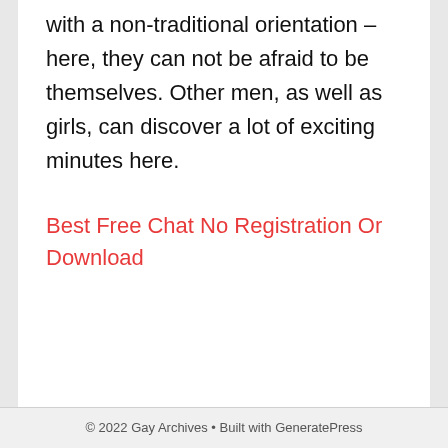with a non-traditional orientation – here, they can not be afraid to be themselves. Other men, as well as girls, can discover a lot of exciting minutes here.
Best Free Chat No Registration Or Download
© 2022 Gay Archives • Built with GeneratePress